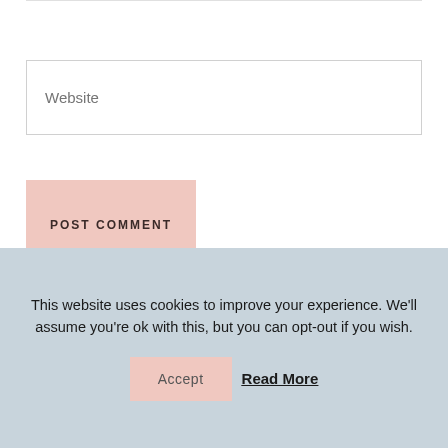Website
POST COMMENT
[Figure (photo): Circular avatar/profile photo of karenehman, a woman with brown curly hair]
karenehman
This website uses cookies to improve your experience. We'll assume you're ok with this, but you can opt-out if you wish.
Accept
Read More